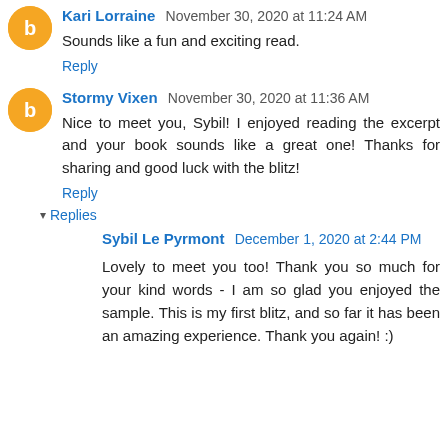Kari Lorraine November 30, 2020 at 11:24 AM
Sounds like a fun and exciting read.
Reply
Stormy Vixen November 30, 2020 at 11:36 AM
Nice to meet you, Sybil! I enjoyed reading the excerpt and your book sounds like a great one! Thanks for sharing and good luck with the blitz!
Reply
Replies
Sybil Le Pyrmont December 1, 2020 at 2:44 PM
Lovely to meet you too! Thank you so much for your kind words - I am so glad you enjoyed the sample. This is my first blitz, and so far it has been an amazing experience. Thank you again! :)